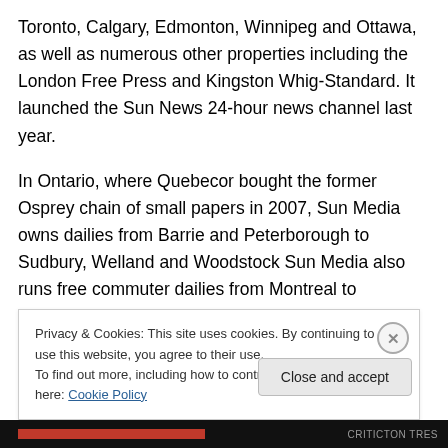Toronto, Calgary, Edmonton, Winnipeg and Ottawa, as well as numerous other properties including the London Free Press and Kingston Whig-Standard. It launched the Sun News 24-hour news channel last year.
In Ontario, where Quebecor bought the former Osprey chain of small papers in 2007, Sun Media owns dailies from Barrie and Peterborough to Sudbury, Welland and Woodstock Sun Media also runs free commuter dailies from Montreal to Vancouver and French-language papers Le Journal de Montréal and Le Journal de Québec, along
Privacy & Cookies: This site uses cookies. By continuing to use this website, you agree to their use.
To find out more, including how to control cookies, see here: Cookie Policy
Close and accept